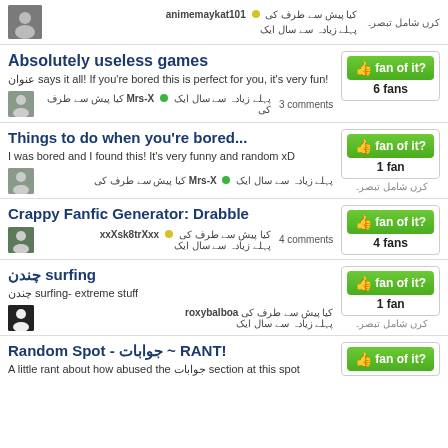کرں شامل تبصرہ | animemaykat101 🟡 کیا پیش سے طرف کی | پہلے زیادہ سے سال ایک
Absolutely useless games
عنوان says it all! If you're bored this is perfect for you, it's very fun!
Mrs-X 🟢 کیا پیش سے طرف کی ایک سال سے زیادہ پہلے | 3 comments | fan of it? 6 fans
Things to do when you're bored...
I was bored and I found this! It's very funny and random xD
Mrs-X 🟢 کیا پیش سے طرف کی ایک سال سے زیادہ پہلے | fan of it? 1 fan | کرں شامل تبصرہ
Crappy Fanfic Generator: Drabble
xxXsk8trXxx 🟡 کیا پیش سے طرف کی | پہلے زیادہ سے سال ایک | fan of it? 4 fans | 4 comments
چندن surfing
چندن surfing- extreme stuff
roxybalboa کیا پیش سے طرف کی | پہلے زیادہ سے سال ایک | fan of it? 1 fan | کرں شامل تبصرہ
Random Spot - جوابات ~ RANT!
A little rant about how abused the جوابات section at this spot